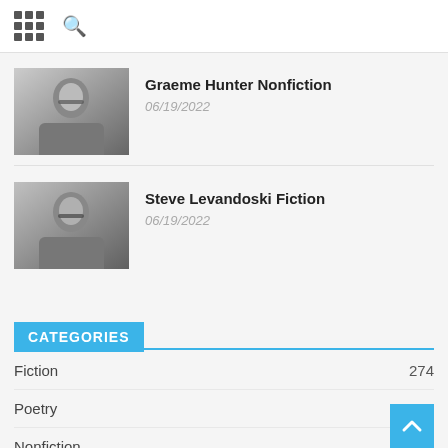[Navigation bar with grid icon and search icon]
[Figure (photo): Black and white photo of Graeme Hunter, a man wearing glasses]
Graeme Hunter Nonfiction
06/19/2022
[Figure (photo): Black and white photo of Steve Levandoski, a man wearing glasses]
Steve Levandoski Fiction
06/19/2022
CATEGORIES
Fiction  274
Poetry  208
Nonfiction  118
Creative Nonfiction  89
Artwork  67